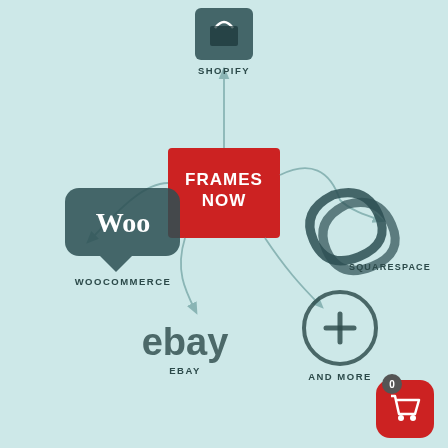[Figure (infographic): Hub-and-spoke infographic showing FRAMES NOW at center (red square logo) connected by curved arrows to: Shopify (top), Squarespace (right), And More (bottom-right, circle with plus), eBay (bottom-left), WooCommerce (left). A shopping cart icon with badge '0' appears bottom-right corner.]